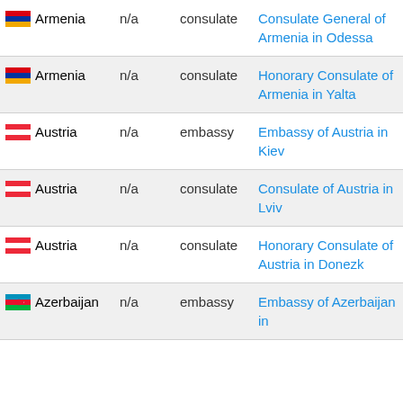| Country | Rank | Type | Mission |
| --- | --- | --- | --- |
| Armenia | n/a | consulate | Consulate General of Armenia in Odessa |
| Armenia | n/a | consulate | Honorary Consulate of Armenia in Yalta |
| Austria | n/a | embassy | Embassy of Austria in Kiev |
| Austria | n/a | consulate | Consulate of Austria in Lviv |
| Austria | n/a | consulate | Honorary Consulate of Austria in Donezk |
| Azerbaijan | n/a | embassy | Embassy of Azerbaijan in ... |